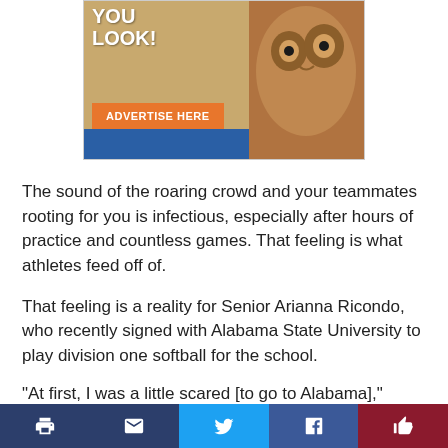[Figure (advertisement): Advertisement banner with owl image, text 'YOU LOOK!' and orange 'ADVERTISE HERE' button on tan/blue background]
The sound of the roaring crowd and your teammates rooting for you is infectious, especially after hours of practice and countless games. That feeling is what athletes feed off of.
That feeling is a reality for Senior Arianna Ricondo, who recently signed with Alabama State University to play division one softball for the school.
“At first, I was a little scared [to go to Alabama],” Ricondo said. “After talking to my college coach about
[Figure (infographic): Social sharing bar with print, email, Twitter, Facebook, and thumbs-up buttons]